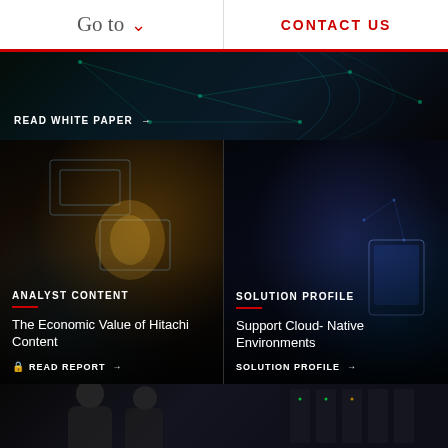Go to   CONTACT US
READ WHITE PAPER →
ANALYST CONTENT
The Economic Value of Hitachi Content
READ REPORT →
SOLUTION PROFILE
Support Cloud-Native Environments
SOLUTION PROFILE →
[Figure (photo): Two people looking at something in a data center environment]